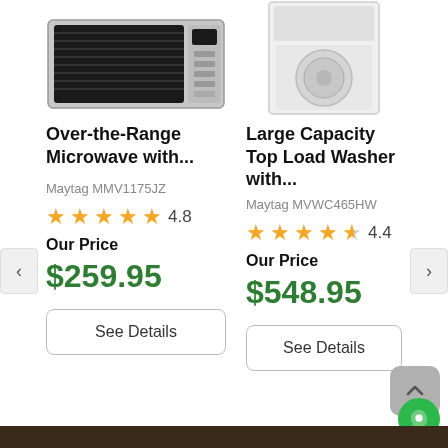[Figure (photo): Over-the-Range Microwave product image, stainless steel]
[Figure (photo): Large Capacity Top Load Washer product image, white]
Over-the-Range Microwave with...
Large Capacity Top Load Washer with...
Maytag MMV1175JZ
Maytag MVWC465HW
4.8
4.4
Our Price
$259.95
Our Price
$548.95
See Details
See Details